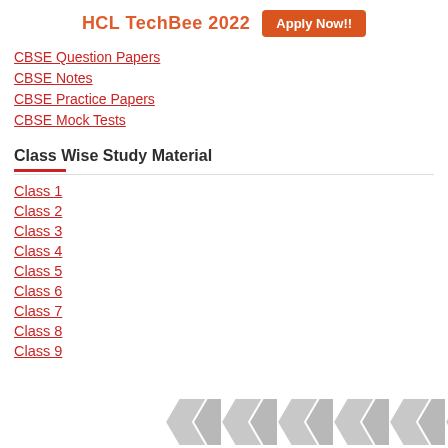HCL TechBee 2022  Apply Now!!
CBSE Question Papers
CBSE Notes
CBSE Practice Papers
CBSE Mock Tests
Class Wise Study Material
Class 1
Class 2
Class 3
Class 4
Class 5
Class 6
Class 7
Class 8
Class 9
[Figure (illustration): Geometric hexagonal/chevron pattern in grey tones at the bottom of the page]